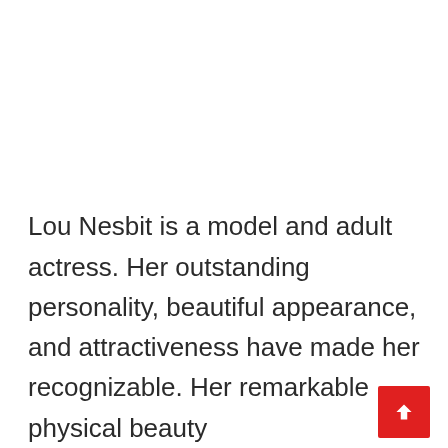Lou Nesbit is a model and adult actress. Her outstanding personality, beautiful appearance, and attractiveness have made her recognizable. Her remarkable physical beauty